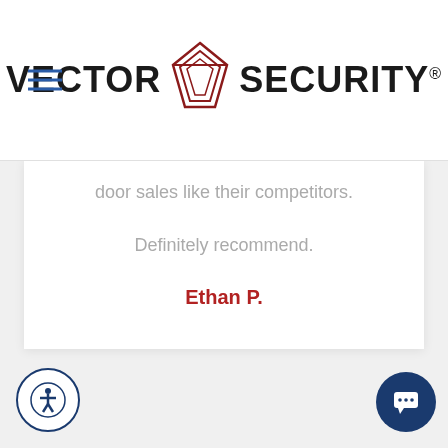[Figure (logo): Vector Security logo with diamond/rhombus icon in dark red and bold text VECTOR SECURITY]
door sales like their competitors.
Definitely recommend.
Ethan P.